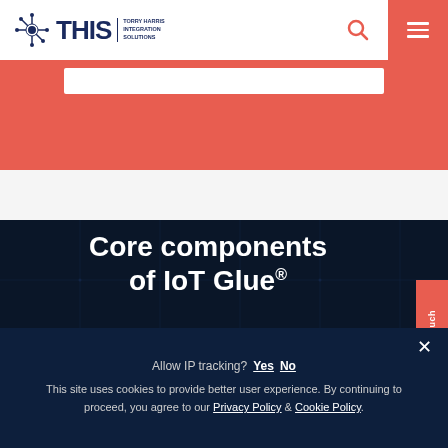[Figure (logo): THIS - Torry Harris Integration Solutions logo with network node icon]
[Figure (screenshot): Search icon and hamburger menu in header navigation]
[Figure (screenshot): Red coral banner with search bar]
Core components of IoT Glue®
[Figure (infographic): IoT Glue core components diagram showing Commune (communication module for users, devices and services management) and Real-Time Builder (Orion with configuring rules and action for real-time streaming data) with network diagram elements]
Allow IP tracking?  Yes  No
This site uses cookies to provide better user experience. By continuing to proceed, you agree to our Privacy Policy & Cookie Policy.